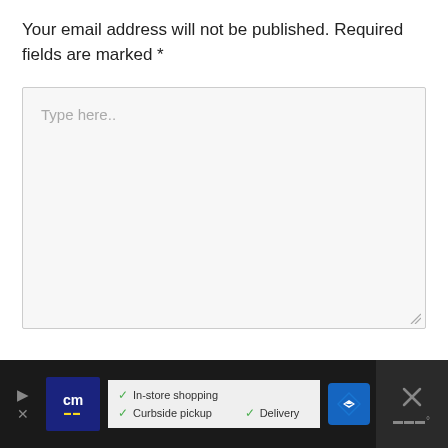Your email address will not be published. Required fields are marked *
[Figure (screenshot): Large text input area with placeholder text 'Type here..' and a resize handle at bottom right]
[Figure (infographic): Advertisement banner with dark background showing 'cm' logo in blue, checkmarks for In-store shopping, Curbside pickup, Delivery features, a blue navigation diamond icon, and an X close button]